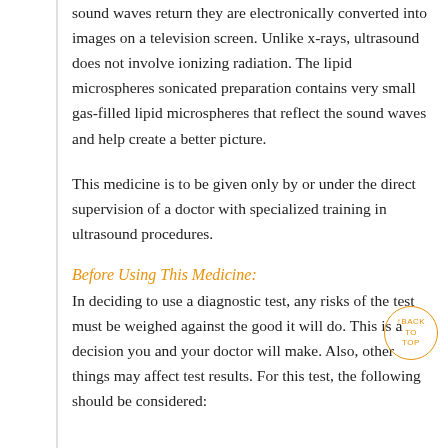sound waves return they are electronically converted into images on a television screen. Unlike x-rays, ultrasound does not involve ionizing radiation. The lipid microspheres sonicated preparation contains very small gas-filled lipid microspheres that reflect the sound waves and help create a better picture.
This medicine is to be given only by or under the direct supervision of a doctor with specialized training in ultrasound procedures.
Before Using This Medicine:
In deciding to use a diagnostic test, any risks of the test must be weighed against the good it will do. This is a decision you and your doctor will make. Also, other things may affect test results. For this test, the following should be considered: